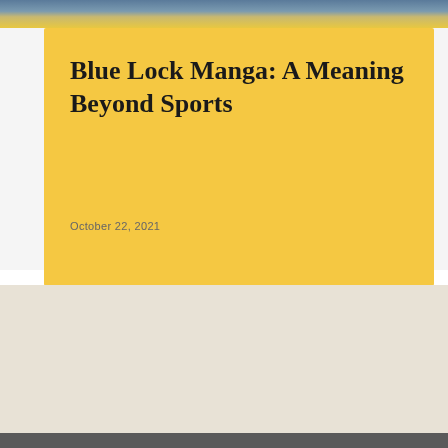[Figure (photo): Top strip showing a manga/sports image with blue and yellow tones]
Blue Lock Manga: A Meaning Beyond Sports
October 22, 2021
Eye on the Storm
© Copyright - Newspaper by TagDiv